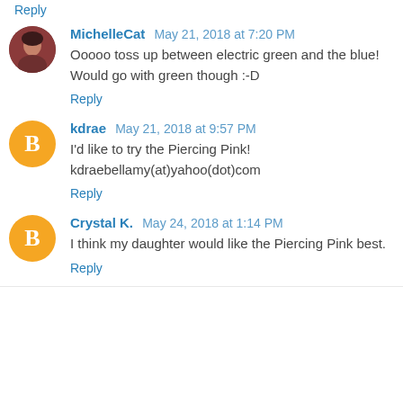Reply
MichelleCat May 21, 2018 at 7:20 PM
Ooooo toss up between electric green and the blue! Would go with green though :-D
Reply
kdrae May 21, 2018 at 9:57 PM
I'd like to try the Piercing Pink! kdraebellamy(at)yahoo(dot)com
Reply
Crystal K. May 24, 2018 at 1:14 PM
I think my daughter would like the Piercing Pink best.
Reply